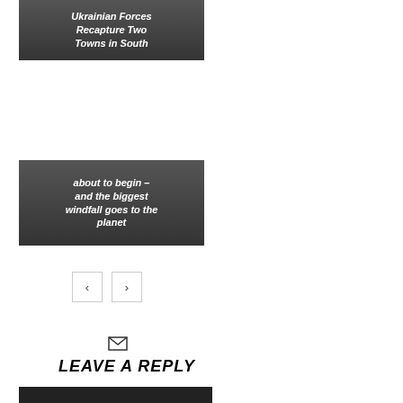[Figure (other): Dark gradient card with white italic bold text reading 'Ukrainian Forces Recapture Two Towns in South']
[Figure (other): Dark gradient card with white italic bold text reading 'about to begin – and the biggest windfall goes to the planet']
< >
[Figure (other): Email/envelope icon]
LEAVE A REPLY
[Figure (other): Dark bottom bar strip]